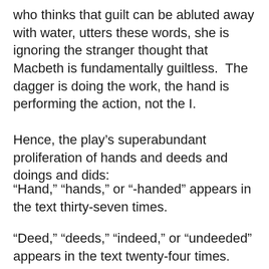who thinks that guilt can be abluted away with water, utters these words, she is ignoring the stranger thought that Macbeth is fundamentally guiltless.  The dagger is doing the work, the hand is performing the action, not the I.
Hence, the play’s superabundant proliferation of hands and deeds and doings and dids:
“Hand,” “hands,” or “-handed” appears in the text thirty-seven times.
“Deed,” “deeds,” “indeed,” or “undeeded” appears in the text twenty-four times.